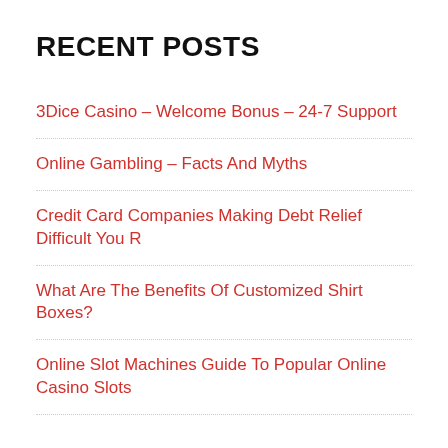RECENT POSTS
3Dice Casino – Welcome Bonus – 24-7 Support
Online Gambling – Facts And Myths
Credit Card Companies Making Debt Relief Difficult You R
What Are The Benefits Of Customized Shirt Boxes?
Online Slot Machines Guide To Popular Online Casino Slots